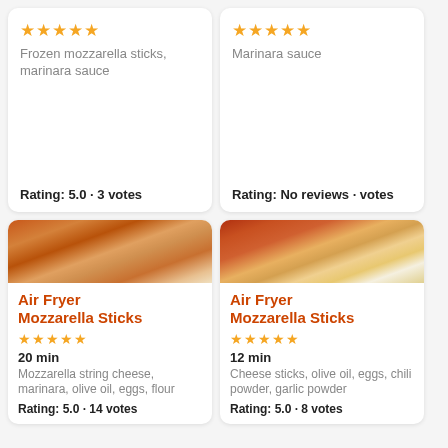[Figure (other): Rating card: Frozen mozzarella sticks, marinara sauce. Stars: 5. Rating: 5.0 · 3 votes]
[Figure (other): Rating card: Marinara sauce. Stars: 5. Rating: No reviews · votes]
[Figure (photo): Air fryer mozzarella sticks with marinara dipping sauce, close-up on parchment]
Air Fryer Mozzarella Sticks
20 min
Mozzarella string cheese, marinara, olive oil, eggs, flour
Rating: 5.0 · 14 votes
[Figure (photo): Air fryer mozzarella sticks next to a bowl of marinara and a white dipping sauce]
Air Fryer Mozzarella Sticks
12 min
Cheese sticks, olive oil, eggs, chili powder, garlic powder
Rating: 5.0 · 8 votes